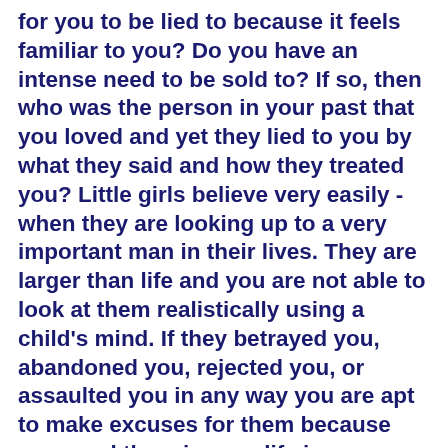for you to be lied to because it feels familiar to you? Do you have an intense need to be sold to? If so, then who was the person in your past that you loved and yet they lied to you by what they said and how they treated you? Little girls believe very easily - when they are looking up to a very important man in their lives. They are larger than life and you are not able to look at them realistically using a child's mind. If they betrayed you, abandoned you, rejected you, or assaulted you in any way you are apt to make excuses for them because you need them in your life in some way.
A grown up version of this will allow